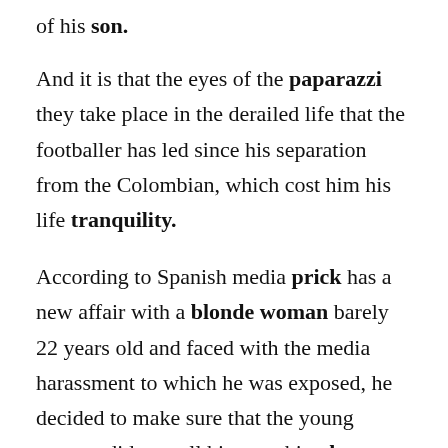of his son.
And it is that the eyes of the paparazzi they take place in the derailed life that the footballer has led since his separation from the Colombian, which cost him his life tranquility.
According to Spanish media prick has a new affair with a blonde woman barely 22 years old and faced with the media harassment to which he was exposed, he decided to make sure that the young woman did not tell him anything love story.